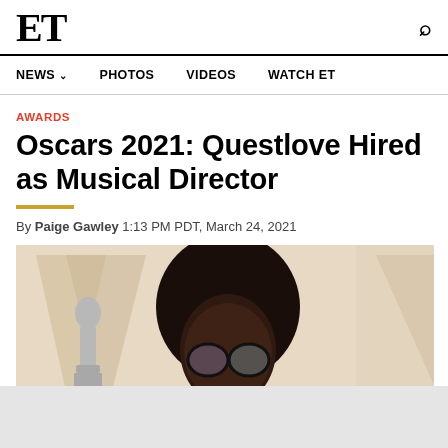ET
NEWS  PHOTOS  VIDEOS  WATCH ET
AWARDS
Oscars 2021: Questlove Hired as Musical Director
By Paige Gawley 1:13 PM PDT, March 24, 2021
[Figure (photo): Photo of Questlove smiling, wearing round glasses, with a large natural afro hairstyle, in front of what appears to be an Oscar backdrop showing an Oscar statuette.]